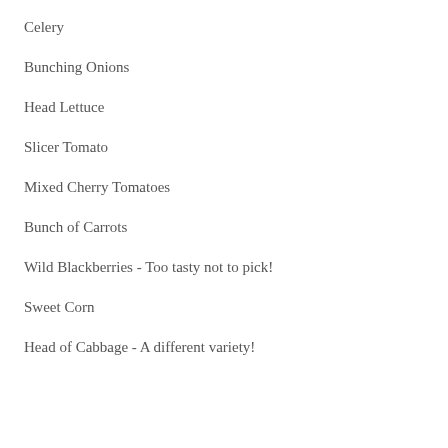Celery
Bunching Onions
Head Lettuce
Slicer Tomato
Mixed Cherry Tomatoes
Bunch of Carrots
Wild Blackberries - Too tasty not to pick!
Sweet Corn
Head of Cabbage - A different variety!